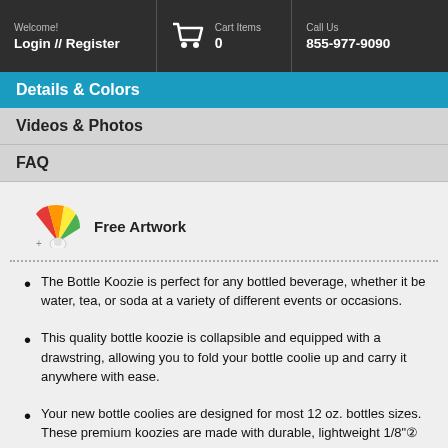Welcome! Login // Register | Cart Items 0 | Call Us 855-977-9090
Details & Colors
Videos & Photos
FAQ
[Figure (illustration): Colorful fan/palette icon representing Free Artwork]
Free Artwork
The Bottle Koozie is perfect for any bottled beverage, whether it be water, tea, or soda at a variety of different events or occasions.
This quality bottle koozie is collapsible and equipped with a drawstring, allowing you to fold your bottle coolie up and carry it anywhere with ease.
Your new bottle coolies are designed for most 12 oz. bottles sizes. These premium koozies are made with durable, lightweight 1/8" thick